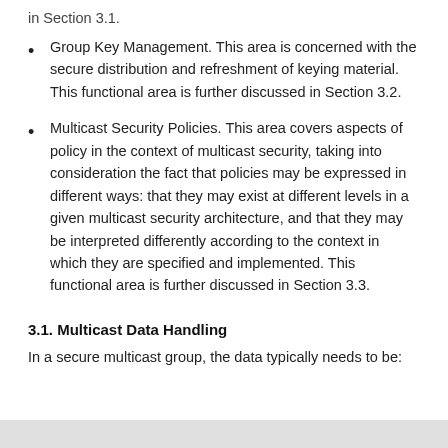in Section 3.1.
Group Key Management. This area is concerned with the secure distribution and refreshment of keying material. This functional area is further discussed in Section 3.2.
Multicast Security Policies. This area covers aspects of policy in the context of multicast security, taking into consideration the fact that policies may be expressed in different ways: that they may exist at different levels in a given multicast security architecture, and that they may be interpreted differently according to the context in which they are specified and implemented. This functional area is further discussed in Section 3.3.
3.1. Multicast Data Handling
In a secure multicast group, the data typically needs to be: